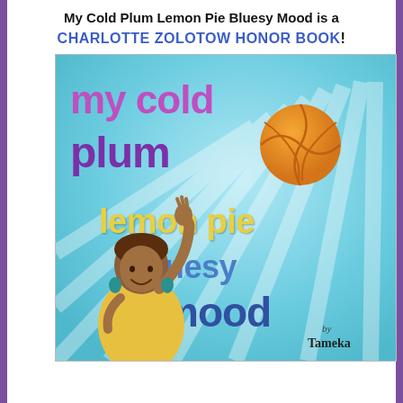My Cold Plum Lemon Pie Bluesy Mood is a
CHARLOTTE ZOLOTOW HONOR BOOK!
[Figure (illustration): Book cover illustration for 'My Cold Plum Lemon Pie Bluesy Mood' by Tameka. Features a teal/blue background with radiating light rays. Title text in colorful letters: 'my cold plum' in purple/magenta, 'lemon pie' in yellow, 'bluesy mood' in blue tones. An orange basketball graphic appears in the upper right area. A young Black girl in a yellow top with teal earrings waves her hand upward. Author credit reads 'by Tameka' in the lower right.]